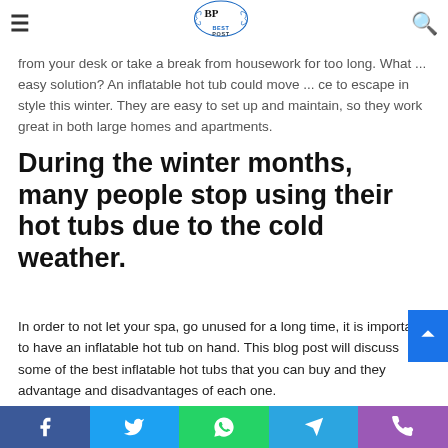Best Post — navigation header with logo
from your desk or take a break from housework for too long. What ... easy solution? An inflatable hot tub could move ... ce to escape in style this winter. They are easy to set up and maintain, so they work great in both large homes and apartments.
During the winter months, many people stop using their hot tubs due to the cold weather.
In order to not let your spa, go unused for a long time, it is important to have an inflatable hot tub on hand. This blog post will discuss some of the best inflatable hot tubs that you can buy and they advantage and disadvantages of each one.
This winter, we're going to be looking at the different option...
Facebook | Twitter | WhatsApp | Telegram | Phone